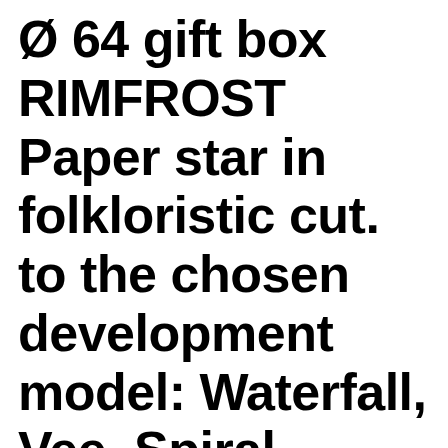Ø 64 gift box RIMFROST Paper star in folkloristic cut. to the chosen development model: Waterfall, Vee, Spiral, Incremental, Agile etc. The luminaire